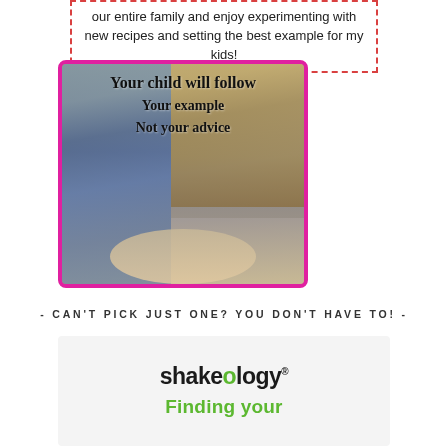our entire family and enjoy experimenting with new recipes and setting the best example for my kids!
[Figure (photo): Photo of a child doing a backbend/handstand indoors with text overlay reading 'Your child will follow Your example Not your advice']
- CAN'T PICK JUST ONE? YOU DON'T HAVE TO! -
[Figure (logo): Shakeology logo with text 'Finding your' below it in green]